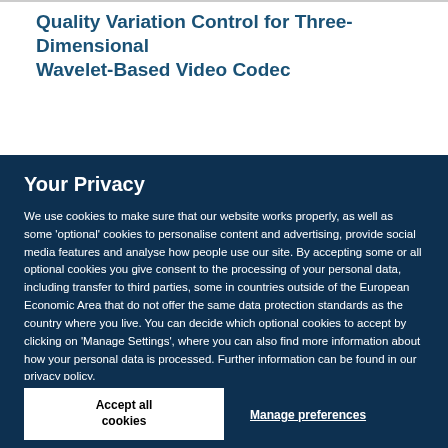Quality Variation Control for Three-Dimensional Wavelet-Based Video Codec
Your Privacy
We use cookies to make sure that our website works properly, as well as some ‘optional’ cookies to personalise content and advertising, provide social media features and analyse how people use our site. By accepting some or all optional cookies you give consent to the processing of your personal data, including transfer to third parties, some in countries outside of the European Economic Area that do not offer the same data protection standards as the country where you live. You can decide which optional cookies to accept by clicking on ‘Manage Settings’, where you can also find more information about how your personal data is processed. Further information can be found in our privacy policy.
Accept all cookies
Manage preferences